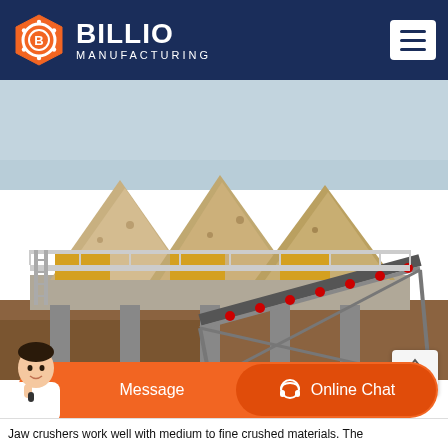[Figure (logo): Billio Manufacturing logo — orange hexagon with gear/B icon, white text BILLIO MANUFACTURING on dark navy header, hamburger menu button top right]
[Figure (photo): Industrial quarry/mining site with multiple jaw crusher machines and conveyor belts, large piles of crushed stone/rock aggregate, outdoor setting with grey sky]
[Figure (screenshot): Orange chat bar with person avatar, Message button on left, Online Chat button on right with headset icon]
Jaw crushers work well with medium to fine crushed materials. The